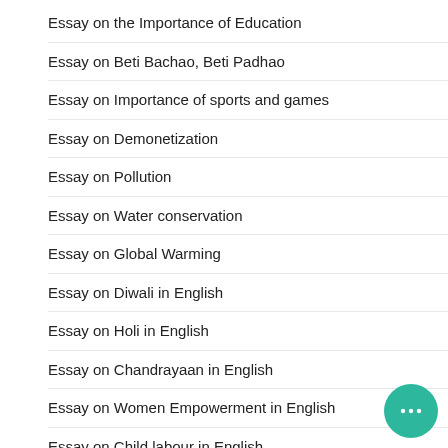Essay on the Importance of Education
Essay on Beti Bachao, Beti Padhao
Essay on Importance of sports and games
Essay on Demonetization
Essay on Pollution
Essay on Water conservation
Essay on Global Warming
Essay on Diwali in English
Essay on Holi in English
Essay on Chandrayaan in English
Essay on Women Empowerment in English
Essay on Child labour in English